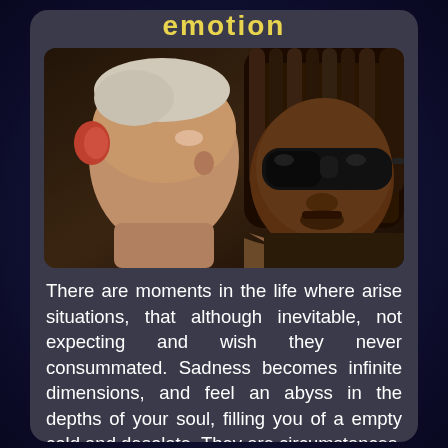emotion
[Figure (photo): Two men close together, one with short light hair appearing emotional, the other wearing dark sunglasses and dreadlocks.]
There are moments in the life where arise situations, that although inevitable, not expecting and wish they never consummated. Sadness becomes infinite dimensions, and feel an abyss in the depths of your soul, filling you of a empty cold and desolate. They are circumstances